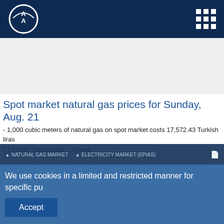AA (Anadolu Agency) logo and navigation
Spot market natural gas prices for Sunday, Aug. 21
- 1,000 cubic meters of natural gas on spot market costs 17,572.43 Turkish liras
14:25 | Natural Gas , Türkiye
Natural gas prices in Europe increases 28.6% in one week
- Suspension of natural gas deliveries via Nord Stream pipeline between Aug. 31 and Sept. 2 contributes to price increases
13:32 | Natural Gas , Finance , Europe , General
We use cookies in a limited and restricted manner for specific pu
Accept